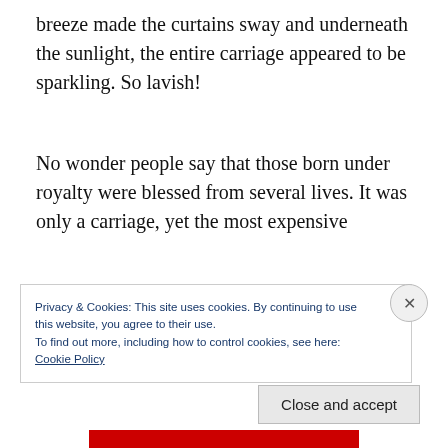breeze made the curtains sway and underneath the sunlight, the entire carriage appeared to be sparkling. So lavish!
No wonder people say that those born under royalty were blessed from several lives. It was only a carriage, yet the most expensive
Privacy & Cookies: This site uses cookies. By continuing to use this website, you agree to their use.
To find out more, including how to control cookies, see here:
Cookie Policy
Close and accept